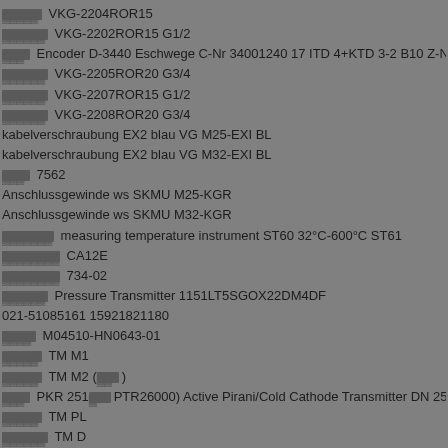[redacted] VKG-2204ROR15
[redacted] VKG-2202ROR15 G1/2
[redacted] Encoder D-3440 Eschwege C-Nr 34001240 17 ITD 4+KTD 3-2 B10 Z-Nr 022-13...
[redacted] VKG-2205ROR20 G3/4
[redacted] VKG-2207ROR15 G1/2
[redacted] VKG-2208ROR20 G3/4
kabelverschraubung EX2 blau VG M25-EXI BL
kabelverschraubung EX2 blau VG M32-EXI BL
[redacted] 7562
Anschlussgewinde ws SKMU M25-KGR
Anschlussgewinde ws SKMU M32-KGR
[redacted] measuring temperature instrument ST60 32°C-600°C ST61
[redacted] CA12E
[redacted] 734-02
[redacted] Pressure Transmitter 1151LT5SGOX22DM4DF
021-51085161 15921821180
[redacted] M04510-HN0643-01
[redacted] TM M1
[redacted] TM M2 ([redacted])
[redacted] PKR 251[PTR26000) Active Pirani/Cold Cathode Transmitter DN 25 ISO-KF
[redacted] TM PL
[redacted] TM D...